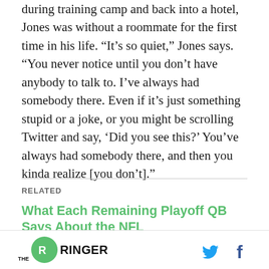during training camp and back into a hotel, Jones was without a roommate for the first time in his life. “It’s so quiet,” Jones says. “You never notice until you don’t have anybody to talk to. I’ve always had somebody there. Even if it’s just something stupid or a joke, or you might be scrolling Twitter and say, ‘Did you see this?’ You’ve always had somebody there, and then you kinda realize [you don’t].”
RELATED
What Each Remaining Playoff QB Says About the NFL
[Figure (logo): The Ringer logo with green circle and Twitter and Facebook icons]